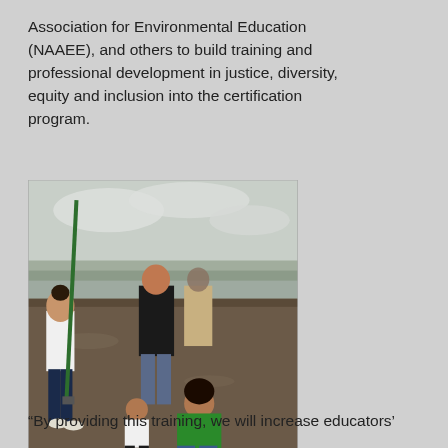Association for Environmental Education (NAAEE), and others to build training and professional development in justice, diversity, equity and inclusion into the certification program.
[Figure (photo): Group of young people digging and examining the muddy ground at a tidal flat or marsh area. One person stands with a shovel, others crouch down examining objects in the mud, possibly oysters or shells. Overcast sky and water visible in background.]
“By providing this training, we will increase educators’